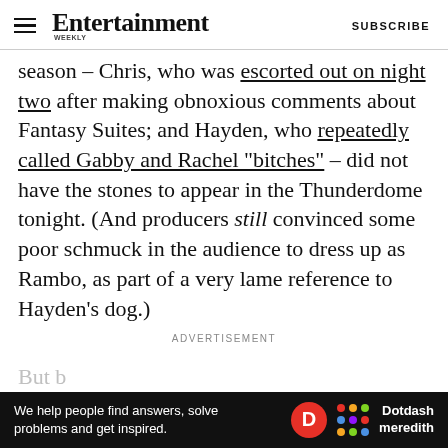Entertainment Weekly | SUBSCRIBE
season – Chris, who was escorted out on night two after making obnoxious comments about Fantasy Suites; and Hayden, who repeatedly called Gabby and Rachel "bitches" – did not have the stones to appear in the Thunderdome tonight. (And producers still convinced some poor schmuck in the audience to dress up as Rambo, as part of a very lame reference to Hayden's dog.)
ADVERTISEMENT
[Figure (other): Dotdash Meredith advertisement banner: 'We help people find answers, solve problems and get inspired.']
But b... ris bad b...